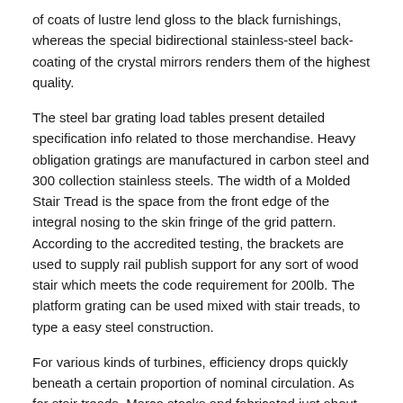of coats of lustre lend gloss to the black furnishings, whereas the special bidirectional stainless-steel back-coating of the crystal mirrors renders them of the highest quality.
The steel bar grating load tables present detailed specification info related to those merchandise. Heavy obligation gratings are manufactured in carbon steel and 300 collection stainless steels. The width of a Molded Stair Tread is the space from the front edge of the integral nosing to the skin fringe of the grid pattern. According to the accredited testing, the brackets are used to supply rail publish support for any sort of wood stair which meets the code requirement for 200lb. The platform grating can be used mixed with stair treads, to type a easy steel construction.
For various kinds of turbines, efficiency drops quickly beneath a certain proportion of nominal circulation. As for stair treads, Marco stocks and fabricated just about each variety; and all are made to satisfy the same high quality standards as all of our fabricated grating. We provide extra info on Major Material Types and Product Finishes within the links provided within the Overview section on the Stair Tread Assets touchdown web page. Petrescu, Relly Victoria Virgil; Aversa, Raffaella; Akash, Bilal; Bucinell, Ronald; Corchado, Juan; Berto, Filippo; Mirsayar, MirMilad; kosaitis, Samuel P.; Abu-Lebdeh, Taher M.; Apicella, Antonio; Petrescu, Florian Ion Tiberiu; 2017